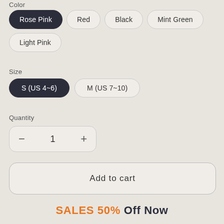Color
Rose Pink (selected), Red, Black, Mint Green, Light Pink
Size
S (US 4~6) (selected), M (US 7~10)
Quantity
− 1 +
Add to cart
SALES 50% Off Now